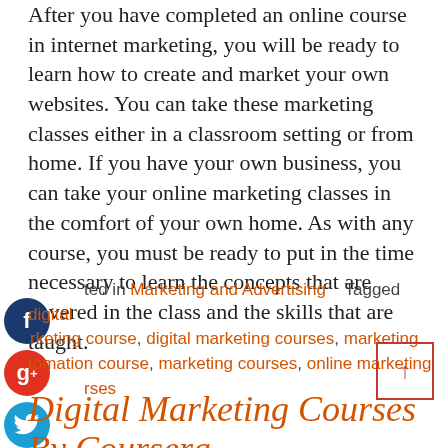After you have completed an online course in internet marketing, you will be ready to learn how to create and market your own websites. You can take these marketing classes either in a classroom setting or from home. If you have your own business, you can take your online marketing classes in the comfort of your own home. As with any course, you must be ready to put in the time necessary to learn the concepts that are covered in the class and the skills that are taught.
Posted in Marketing and Advertising   Tagged digital marketing course, digital marketing courses, marketing automation course, marketing courses, online marketing courses
Digital Marketing Courses By Coursera